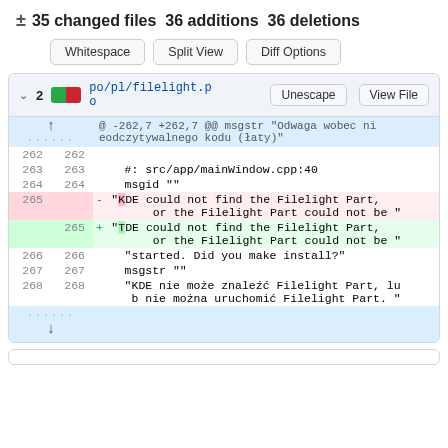± 35 changed files 36 additions 36 deletions
Whitespace | Split View | Diff Options
v 2 [green][red] po/pl/filelight.po  Unescape  View File
| old | new | sign | content |
| --- | --- | --- | --- |
|  |  |  | @ -262,7 +262,7 @@ msgstr "Odwaga wobec nieodczytywalnego kodu (łaty)" |
| 262 | 262 |  |  |
| 263 | 263 |  | #: src/app/mainWindow.cpp:40 |
| 264 | 264 |  | msgid "" |
| 265 |  | - | "KDE could not find the Filelight Part, or the Filelight Part could not be " |
|  | 265 | + | "TDE could not find the Filelight Part, or the Filelight Part could not be " |
| 266 | 266 |  | "started. Did you make install?" |
| 267 | 267 |  | msgstr "" |
| 268 | 268 |  | "KDE nie może znaleźć Filelight Part, lub nie można uruchomić Filelight Part. " |